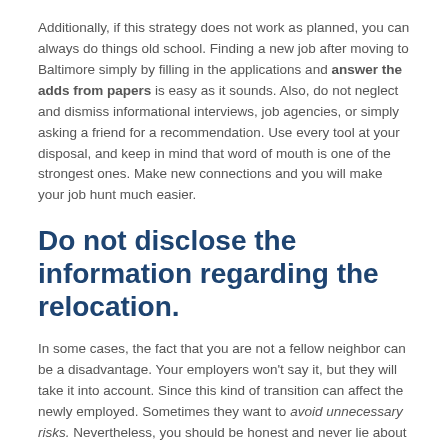Additionally, if this strategy does not work as planned, you can always do things old school. Finding a new job after moving to Baltimore simply by filling in the applications and answer the adds from papers is easy as it sounds. Also, do not neglect and dismiss informational interviews, job agencies, or simply asking a friend for a recommendation. Use every tool at your disposal, and keep in mind that word of mouth is one of the strongest ones. Make new connections and you will make your job hunt much easier.
Do not disclose the information regarding the relocation.
In some cases, the fact that you are not a fellow neighbor can be a disadvantage. Your employers won't say it, but they will take it into account. Since this kind of transition can affect the newly employed. Sometimes they want to avoid unnecessary risks. Nevertheless, you should be honest and never lie about it. Some people even go out of their way and establish a foothold in a new city. Establishing a P.O. box